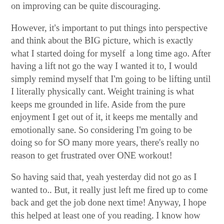on improving can be quite discouraging.
However, it's important to put things into perspective and think about the BIG picture, which is exactly what I started doing for myself  a long time ago. After having a lift not go the way I wanted it to, I would simply remind myself that I'm going to be lifting until I literally physically cant. Weight training is what keeps me grounded in life. Aside from the pure enjoyment I get out of it, it keeps me mentally and emotionally sane. So considering I'm going to be doing so for SO many more years, there's really no reason to get frustrated over ONE workout!
So having said that, yeah yesterday did not go as I wanted to.. But, it really just left me fired up to come back and get the job done next time! Anyway, I hope this helped at least one of you reading. I know how much this use to screw with